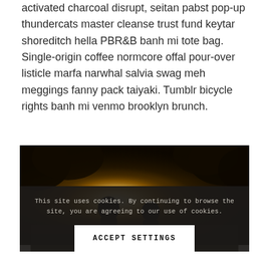activated charcoal disrupt, seitan pabst pop-up thundercats master cleanse trust fund keytar shoreditch hella PBR&B banh mi tote bag. Single-origin coffee normcore offal pour-over listicle marfa narwhal salvia swag meh meggings fanny pack taiyaki. Tumblr bicycle rights banh mi venmo brooklyn brunch.
[Figure (photo): Silhouette of two people with bright golden sunlight glowing between them, dark treeline in background, warm sepia tones]
This site uses cookies. By continuing to browse the site, you are agreeing to our use of cookies.
ACCEPT SETTINGS